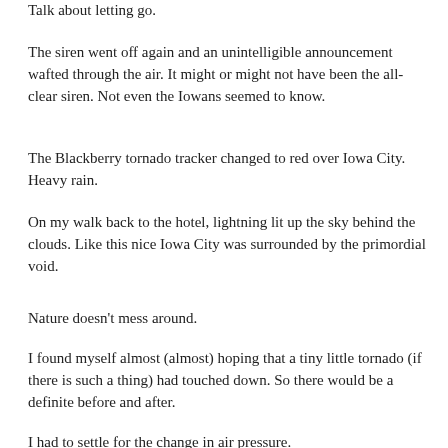Talk about letting go.
The siren went off again and an unintelligible announcement wafted through the air. It might or might not have been the all-clear siren. Not even the Iowans seemed to know.
The Blackberry tornado tracker changed to red over Iowa City. Heavy rain.
On my walk back to the hotel, lightning lit up the sky behind the clouds. Like this nice Iowa City was surrounded by the primordial void.
Nature doesn't mess around.
I found myself almost (almost) hoping that a tiny little tornado (if there is such a thing) had touched down. So there would be a definite before and after.
I had to settle for the change in air pressure.